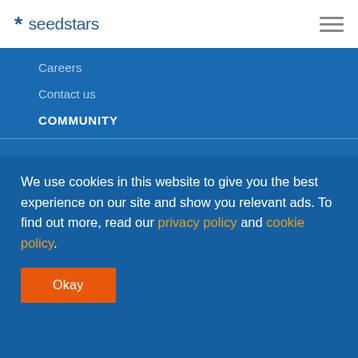* seedstars
Careers
Contact us
COMMUNITY
We use cookies in this website to give you the best experience on our site and show you relevant ads. To find out more, read our privacy policy and cookie policy.
Okay